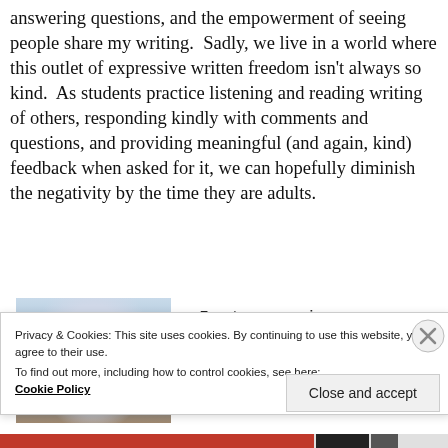answering questions, and the empowerment of seeing people share my writing.  Sadly, we live in a world where this outlet of expressive written freedom isn't always so kind.  As students practice listening and reading writing of others, responding kindly with comments and questions, and providing meaningful (and again, kind) feedback when asked for it, we can hopefully diminish the negativity by the time they are adults.
[Figure (photo): Photo of a person from behind wearing a white t-shirt, outdoors.]
5-star reviews ★★★★★
Privacy & Cookies: This site uses cookies. By continuing to use this website, you agree to their use.
To find out more, including how to control cookies, see here: Cookie Policy
Close and accept